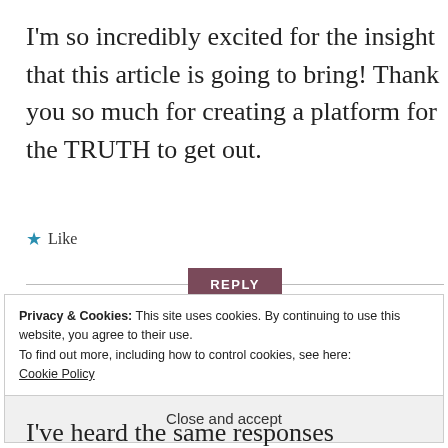I'm so incredibly excited for the insight that this article is going to bring! Thank you so much for creating a platform for the TRUTH to get out.
★ Like
REPLY
Privacy & Cookies: This site uses cookies. By continuing to use this website, you agree to their use.
To find out more, including how to control cookies, see here:
Cookie Policy
Close and accept
I've heard the same responses